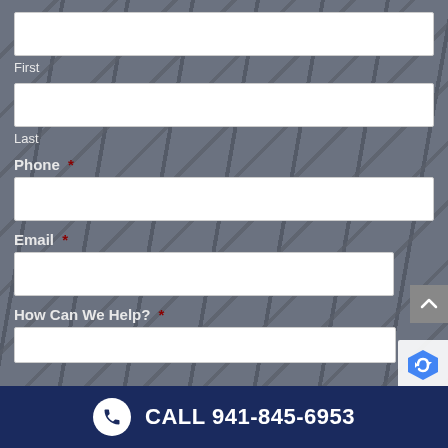[Figure (screenshot): Web contact form on dark gray diagonal-striped background with fields for First name, Last name, Phone (required), Email (required), and How Can We Help (required), plus a scroll-to-top button and reCAPTCHA badge]
First
Last
Phone *
Email *
How Can We Help? *
CALL 941-845-6953